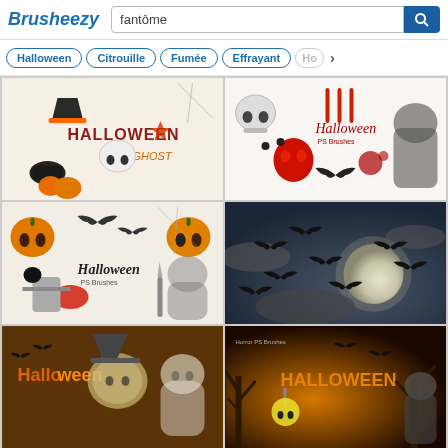[Figure (screenshot): Brusheezy website header with logo and search bar showing 'fantôme' query]
[Figure (screenshot): Filter pills row: Halloween, Citrouille, Fumée, Effrayant, Ho (partial)]
[Figure (photo): Halloween clipart brush set with skulls, pumpkins, ghost, cauldron text HALLOWEEN GHOST]
[Figure (photo): Halloween PS Brushes set with skull, knives, devil mask, bat, blood splat, ghost costume]
[Figure (photo): Halloween PS Brushes second set with pumpkins, bats, spider web, crow, ghost figure, mask]
[Figure (photo): Dark spooky scene with bats flying against full moon and cloudy sky]
[Figure (photo): Halloween illustration with bats and ghost/witch figure on brown background]
[Figure (photo): Horror PS Brushes Halloween scene with trees, skull lantern, robed figure]